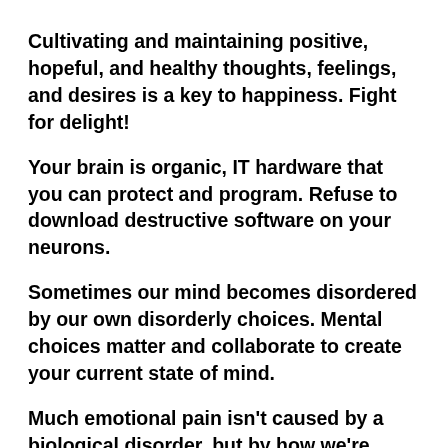Cultivating and maintaining positive, hopeful, and healthy thoughts, feelings, and desires is a key to happiness. Fight for delight!
Your brain is organic, IT hardware that you can protect and program. Refuse to download destructive software on your neurons.
Sometimes our mind becomes disordered by our own disorderly choices. Mental choices matter and collaborate to create your current state of mind.
Much emotional pain isn't caused by a biological disorder, but by how we're choosing to run our mind. Physical pain warns us when we are misusing our body. Emotional pain warns us when we are misusing our mind.